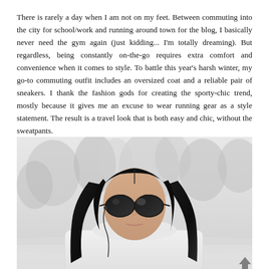There is rarely a day when I am not on my feet. Between commuting into the city for school/work and running around town for the blog, I basically never need the gym again (just kidding... I'm totally dreaming). But regardless, being constantly on-the-go requires extra comfort and convenience when it comes to style. To battle this year's harsh winter, my go-to commuting outfit includes an oversized coat and a reliable pair of sneakers. I thank the fashion gods for creating the sporty-chic trend, mostly because it gives me an excuse to wear running gear as a style statement. The result is a travel look that is both easy and chic, without the sweatpants.
[Figure (photo): A young woman with long black hair wearing dark aviator sunglasses and earbuds, photographed outdoors in winter with blurred bare trees in the background. She appears to be wearing a light-colored oversized coat.]